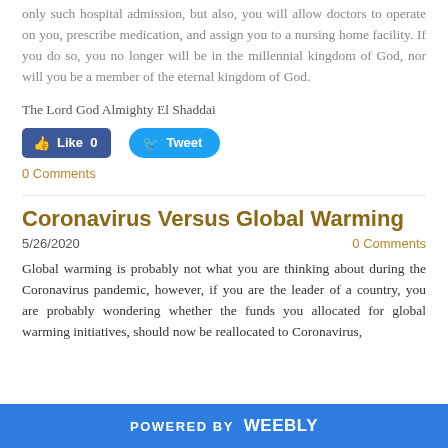only such hospital admission, but also, you will allow doctors to operate on you, prescribe medication, and assign you to a nursing home facility. If you do so, you no longer will be in the millennial kingdom of God, nor will you be a member of the eternal kingdom of God.
The Lord God Almighty El Shaddai
[Figure (other): Facebook Like button showing 0 likes and Twitter Tweet button]
0 Comments
Coronavirus Versus Global Warming
5/26/2020
0 Comments
Global warming is probably not what you are thinking about during the Coronavirus pandemic, however, if you are the leader of a country, you are probably wondering whether the funds you allocated for global warming initiatives, should now be reallocated to Coronavirus,
POWERED BY weebly